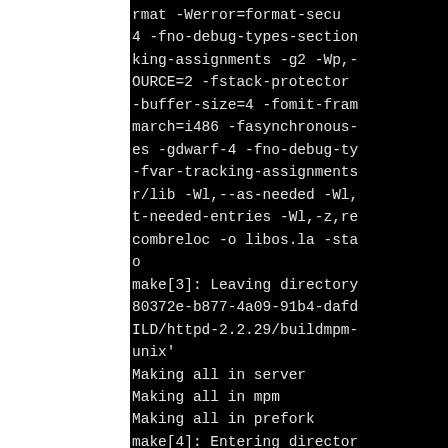rmat -Werror=format-secu 4 -fno-debug-types-section king-assignments -g2 -Wp,- OURCE=2 -fstack-protector -buffer-size=4 -fomit-fram march=i486 -fasynchronous- es -gdwarf-4 -fno-debug-ty -fvar-tracking-assignments r/lib -Wl,--as-needed -Wl, t-needed-entries -Wl,-z,re combreloc -o libos.la -sta o make[3]: Leaving directory 80372e-b877-4a09-91b4-dafd ILD/httpd-2.2.29/buildmpm- unix' Making all in server Making all in mpm Making all in prefork make[4]: Entering director 580372e-b877-4a09-91b4-da UILD/httpd-2.2.29/buildmpm rver/mpm/prefork' /usr/share/apr/build-1/lib